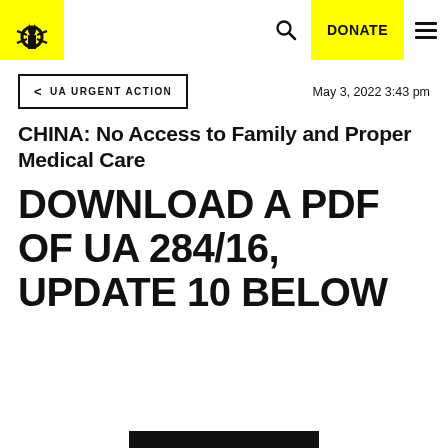UA URGENT ACTION | DONATE | [search] [menu]
< UA URGENT ACTION    May 3, 2022 3:43 pm
CHINA: No Access to Family and Proper Medical Care
DOWNLOAD A PDF OF UA 284/16, UPDATE 10 BELOW